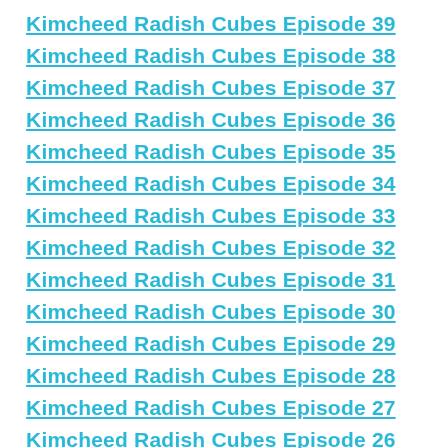Kimcheed Radish Cubes Episode 39
Kimcheed Radish Cubes Episode 38
Kimcheed Radish Cubes Episode 37
Kimcheed Radish Cubes Episode 36
Kimcheed Radish Cubes Episode 35
Kimcheed Radish Cubes Episode 34
Kimcheed Radish Cubes Episode 33
Kimcheed Radish Cubes Episode 32
Kimcheed Radish Cubes Episode 31
Kimcheed Radish Cubes Episode 30
Kimcheed Radish Cubes Episode 29
Kimcheed Radish Cubes Episode 28
Kimcheed Radish Cubes Episode 27
Kimcheed Radish Cubes Episode 26
Kimcheed Radish Cubes Episode 25
Kimcheed Radish Cubes Episode 24
Kimcheed Radish Cubes Episode 23
Kimcheed Radish Cubes Episode 22